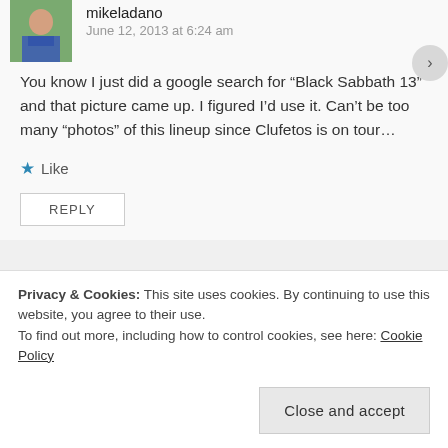mikeladano
June 12, 2013 at 6:24 am
You know I just did a google search for “Black Sabbath 13” and that picture came up. I figured I’d use it. Can’t be too many “photos” of this lineup since Clufetos is on tour…
Like
REPLY
Heavy Metal Overload
June 12, 2013 at 6:40 am
Privacy & Cookies: This site uses cookies. By continuing to use this website, you agree to their use.
To find out more, including how to control cookies, see here: Cookie Policy
Close and accept